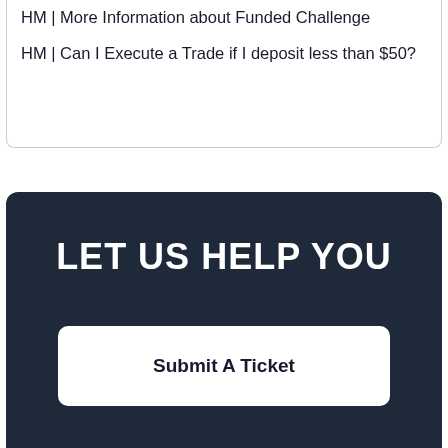HM | More Information about Funded Challenge
HM | Can I Execute a Trade if I deposit less than $50?
LET US HELP YOU
Submit A Ticket